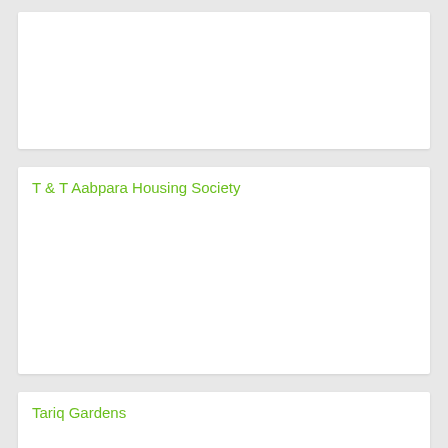[Figure (other): White card panel with no visible content (top card, partially visible)]
T & T Aabpara Housing Society
Tariq Gardens